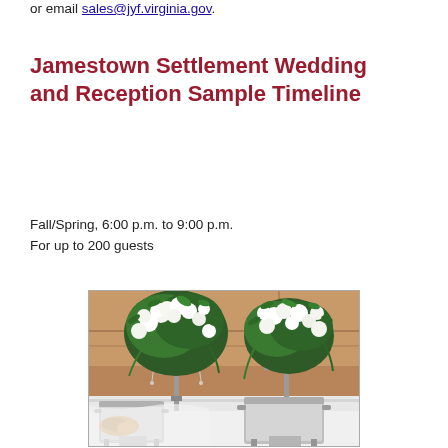or email sales@jyf.virginia.gov.
Jamestown Settlement Wedding and Reception Sample Timeline
Fall/Spring, 6:00 p.m. to 9:00 p.m.
For up to 200 guests
[Figure (photo): Photo of a wedding reception setup showing tall floral centerpieces with white flowers and greenery on candelabras, with silver chafing dishes on a white-draped table in the foreground, set inside a wood-paneled venue.]